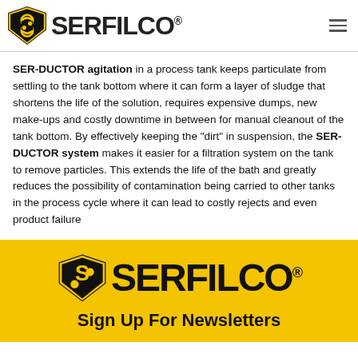SERFILCO®
SER-DUCTOR agitation in a process tank keeps particulate from settling to the tank bottom where it can form a layer of sludge that shortens the life of the solution, requires expensive dumps, new make-ups and costly downtime in between for manual cleanout of the tank bottom. By effectively keeping the "dirt" in suspension, the SER-DUCTOR system makes it easier for a filtration system on the tank to remove particles. This extends the life of the bath and greatly reduces the possibility of contamination being carried to other tanks in the process cycle where it can lead to costly rejects and even product failure
[Figure (logo): Serfilco logo with shield icon and company name on yellow background, with Sign Up For Newsletters text below]